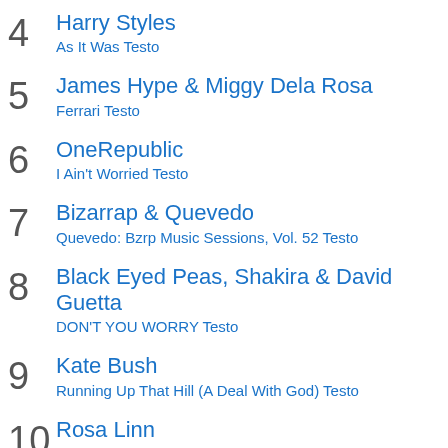4 Harry Styles – As It Was Testo
5 James Hype & Miggy Dela Rosa – Ferrari Testo
6 OneRepublic – I Ain't Worried Testo
7 Bizarrap & Quevedo – Quevedo: Bzrp Music Sessions, Vol. 52 Testo
8 Black Eyed Peas, Shakira & David Guetta – DON'T YOU WORRY Testo
9 Kate Bush – Running Up That Hill (A Deal With God) Testo
10 Rosa Linn